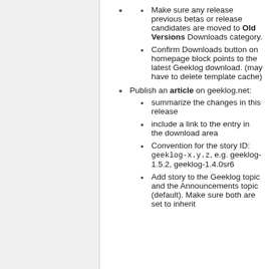Make sure any release previous betas or release candidates are moved to Old Versions Downloads category.
Confirm Downloads button on homepage block points to the latest Geeklog download. (may have to delete template cache)
Publish an article on geeklog.net:
summarize the changes in this release
include a link to the entry in the download area
Convention for the story ID: geeklog-x.y.z, e.g. geeklog-1.5.2, geeklog-1.4.0sr6
Add story to the Geeklog topic and the Announcements topic (default). Make sure both are set to inherit